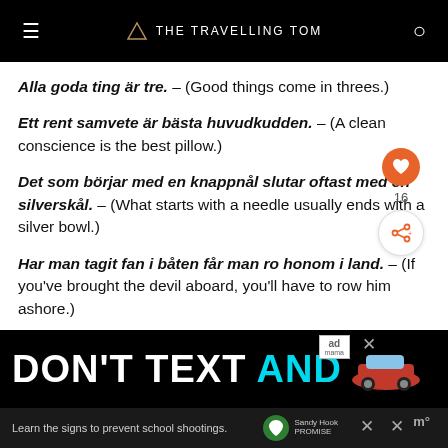THE TRAVELLING TOM
Alla goda ting är tre. – (Good things come in threes.)
Ett rent samvete är bästa huvudkudden. – (A clean conscience is the best pillow.)
Det som börjar med en knappnål slutar oftast med en silverskål. – (What starts with a needle usually ends with a silver bowl.)
Har man tagit fan i båten får man ro honom i land. – (If you've brought the devil aboard, you'll have to row him ashore.)
[Figure (screenshot): Advertisement banner at the bottom reading DON'T TEXT AND with a car image and Sandy Hook Promise logo]